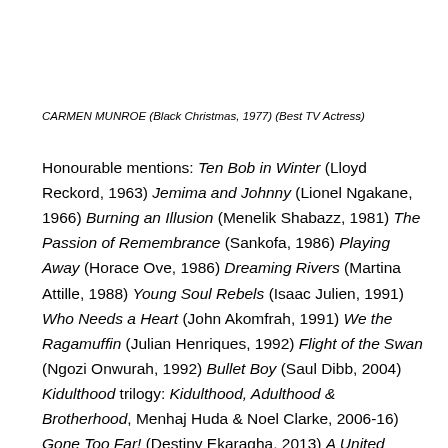CARMEN MUNROE (Black Christmas, 1977) (Best TV Actress)
Honourable mentions: Ten Bob in Winter (Lloyd Reckord, 1963) Jemima and Johnny (Lionel Ngakane, 1966) Burning an Illusion (Menelik Shabazz, 1981) The Passion of Remembrance (Sankofa, 1986) Playing Away (Horace Ove, 1986) Dreaming Rivers (Martina Attille, 1988) Young Soul Rebels (Isaac Julien, 1991) Who Needs a Heart (John Akomfrah, 1991) We the Ragamuffin (Julian Henriques, 1992) Flight of the Swan (Ngozi Onwurah, 1992) Bullet Boy (Saul Dibb, 2004) Kidulthood trilogy: Kidulthood, Adulthood & Brotherhood, Menhaj Huda & Noel Clarke, 2006-16) Gone Too Far! (Destiny Ekaragha, 2013) A United Kingdom (Amma Asante, 2016)